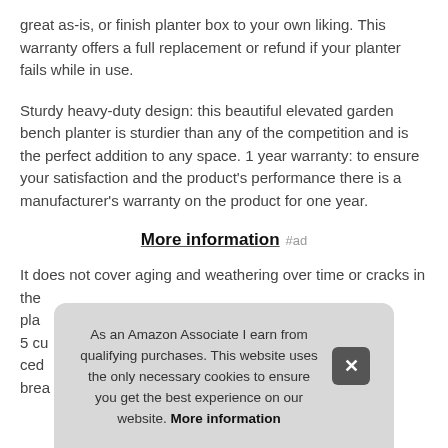great as-is, or finish planter box to your own liking. This warranty offers a full replacement or refund if your planter fails while in use.
Sturdy heavy-duty design: this beautiful elevated garden bench planter is sturdier than any of the competition and is the perfect addition to any space. 1 year warranty: to ensure your satisfaction and the product's performance there is a manufacturer's warranty on the product for one year.
More information #ad
It does not cover aging and weathering over time or cracks in the
pla
5 cu
ced
brea
As an Amazon Associate I earn from qualifying purchases. This website uses the only necessary cookies to ensure you get the best experience on our website. More information